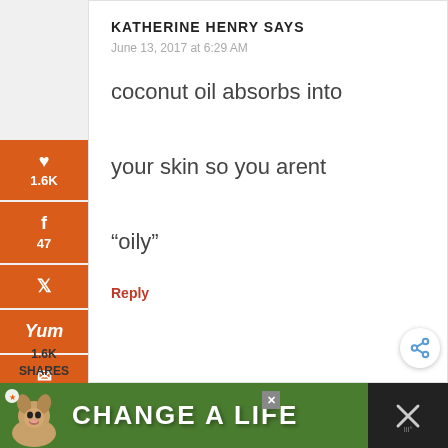KATHERINE HENRY SAYS
June 13, 2017 at 6:29 AM
coconut oil absorbs into your skin so you arent “oily”
Reply
[Figure (screenshot): Social share sidebar with Pinterest (1.6K), Facebook (47), Twitter, Yummly, Email, Print buttons in orange]
[Figure (infographic): Advertisement banner: dog photo with CHANGE A LIFE text on green background]
1.6K SHARES